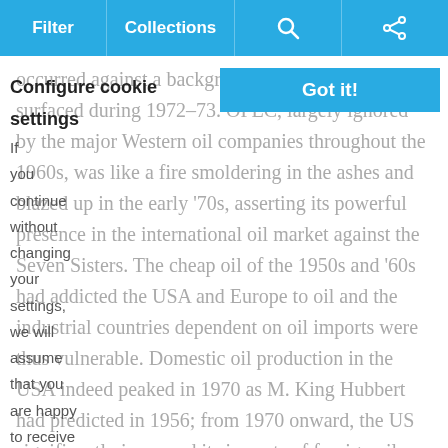Filter | Collections | [search icon] | [share icon]
occurred against a background of latent factors that surfaced during 1972–73. OPEC, largely ignored by the major Western oil companies throughout the 1960s, was like a fire smoldering in the ashes and blazed up in the early '70s, asserting its powerful presence in the international oil market against the Seven Sisters. The cheap oil of the 1950s and '60s had addicted the USA and Europe to oil and the industrial countries dependent on oil imports were thus vulnerable. Domestic oil production in the USA indeed peaked in 1970 as M. King Hubbert had predicted in 1956; from 1970 onward, the US significantly increased its imports of foreign oil. Finally, the Israel-Palestinian conflict was revived in October 1973, when Egypt and Syria invaded Israel to expel it from the land it had taken in 1967. The oil-rich Arab countries imposed an oil embargo against the US and other countries for their support of Israel. This did not achieve its objectives against Israel.
Configure cookie settings
If you continue without changing your settings, we will assume that you are happy to receive all cookies on the GEO ExPro website.
Got it!